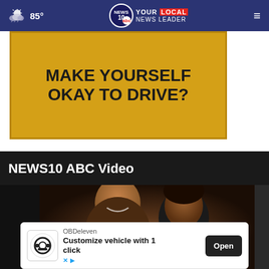85° NEWS10 YOUR LOCAL NEWS LEADER
[Figure (illustration): Advertisement banner with gold/yellow background showing text: MAKE YOURSELF OKAY TO DRIVE?]
NEWS10 ABC Video
[Figure (photo): Video thumbnail showing two smiling women in dark lighting]
[Figure (other): OBDeleven ad: Customize vehicle with 1 click, Open button]